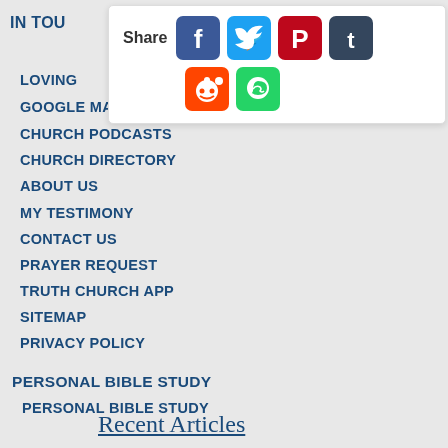IN TOU
[Figure (screenshot): Share popup with social media icons: Facebook (blue), Twitter (blue), Pinterest (red), Tumblr (dark blue/grey), Reddit (orange-red), WhatsApp (green)]
LOVING
GOOGLE MAKE ...
CHURCH PODCASTS
CHURCH DIRECTORY
ABOUT US
MY TESTIMONY
CONTACT US
PRAYER REQUEST
TRUTH CHURCH APP
SITEMAP
PRIVACY POLICY
PERSONAL BIBLE STUDY
PERSONAL BIBLE STUDY
Recent Articles